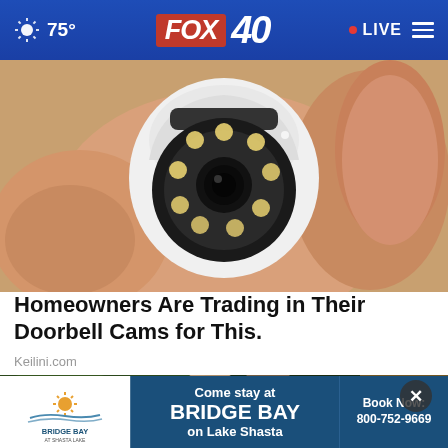75° FOX 40 • LIVE
[Figure (photo): A hand holding a small white security camera with multiple LED lights arranged in a circular pattern around a central lens, photographed indoors.]
Homeowners Are Trading in Their Doorbell Cams for This.
Keilini.com
[Figure (photo): A couple smiling at an event or gathering, with warm indoor lighting in a dark background setting.]
Come stay at BRIDGE BAY on Lake Shasta  Book Now: 800-752-9669